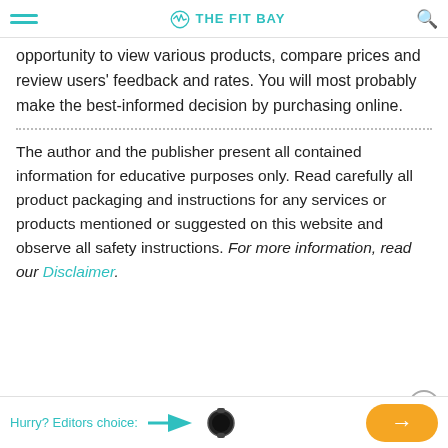THE FIT BAY
opportunity to view various products, compare prices and review users' feedback and rates. You will most probably make the best-informed decision by purchasing online.
The author and the publisher present all contained information for educative purposes only. Read carefully all product packaging and instructions for any services or products mentioned or suggested on this website and observe all safety instructions. For more information, read our Disclaimer.
Hurry? Editors choice: